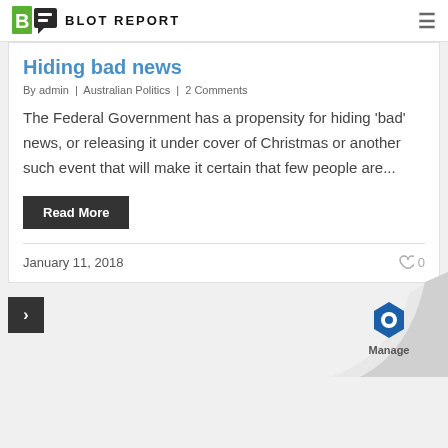BLOT REPORT
Hiding bad news
By admin | Australian Politics | 2 Comments
The Federal Government has a propensity for hiding 'bad' news, or releasing it under cover of Christmas or another such event that will make it certain that few people are...
Read More
January 11, 2018
0